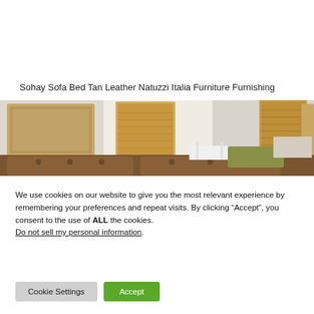Sohay Sofa Bed Tan Leather Natuzzi Italia Furniture Furnishing
[Figure (photo): Interior room photo showing a tan leather sofa, framed artwork on walls, wooden shutters on window, and decorative items on a shelf]
We use cookies on our website to give you the most relevant experience by remembering your preferences and repeat visits. By clicking “Accept”, you consent to the use of ALL the cookies.
Do not sell my personal information.
Cookie Settings
Accept